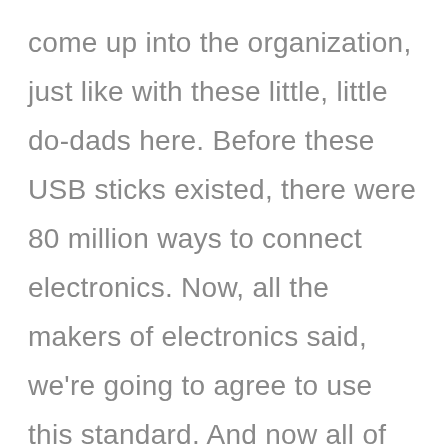come up into the organization, just like with these little, little do-dads here. Before these USB sticks existed, there were 80 million ways to connect electronics. Now, all the makers of electronics said, we're going to agree to use this standard. And now all of our stuff works together.

So my focus this year and going forward is going to be on helping to